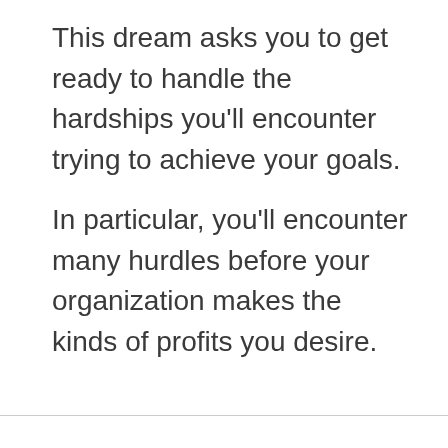This dream asks you to get ready to handle the hardships you'll encounter trying to achieve your goals.
In particular, you'll encounter many hurdles before your organization makes the kinds of profits you desire.